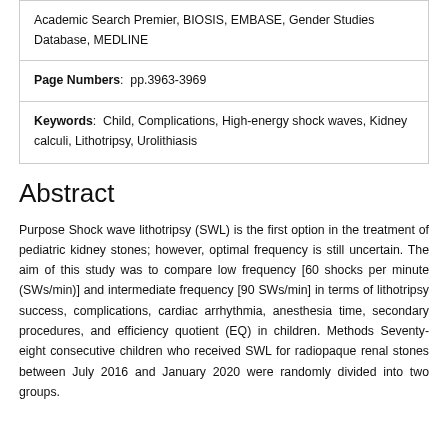| Academic Search Premier, BIOSIS, EMBASE, Gender Studies Database, MEDLINE |
| Page Numbers:  pp.3963-3969 |
| Keywords:  Child, Complications, High-energy shock waves, Kidney calculi, Lithotripsy, Urolithiasis |
Abstract
Purpose Shock wave lithotripsy (SWL) is the first option in the treatment of pediatric kidney stones; however, optimal frequency is still uncertain. The aim of this study was to compare low frequency [60 shocks per minute (SWs/min)] and intermediate frequency [90 SWs/min] in terms of lithotripsy success, complications, cardiac arrhythmia, anesthesia time, secondary procedures, and efficiency quotient (EQ) in children. Methods Seventy-eight consecutive children who received SWL for radiopaque renal stones between July 2016 and January 2020 were randomly divided into two groups.